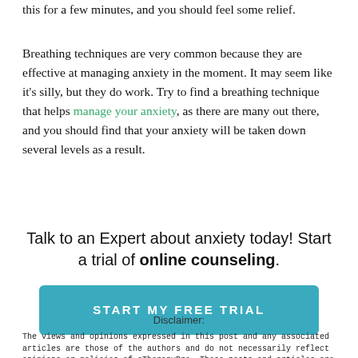this for a few minutes, and you should feel some relief.
Breathing techniques are very common because they are effective at managing anxiety in the moment. It may seem like it's silly, but they do work. Try to find a breathing technique that helps manage your anxiety, as there are many out there, and you should find that your anxiety will be taken down several levels as a result.
Talk to an Expert about anxiety today! Start a trial of online counseling.
[Figure (other): Teal/blue button with white uppercase text reading START MY FREE TRIAL]
Disclaimer:
The views and opinions expressed in this post and any associated articles are those of the authors and do not necessarily reflect opinions or policies of eTherapyPro. These posts and articles are shared for your enjoyment and